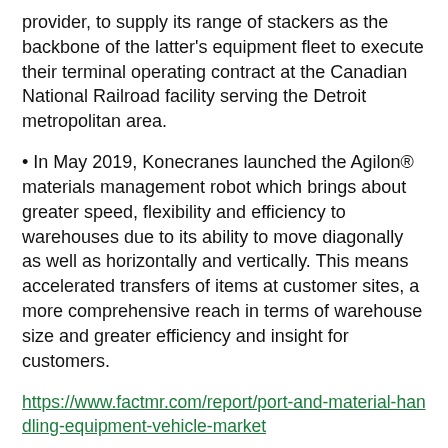provider, to supply its range of stackers as the backbone of the latter's equipment fleet to execute their terminal operating contract at the Canadian National Railroad facility serving the Detroit metropolitan area.
• In May 2019, Konecranes launched the Agilon® materials management robot which brings about greater speed, flexibility and efficiency to warehouses due to its ability to move diagonally as well as horizontally and vertically. This means accelerated transfers of items at customer sites, a more comprehensive reach in terms of warehouse size and greater efficiency and insight for customers.
https://www.factmr.com/report/port-and-material-handling-equipment-vehicle-market
Submit your logistics, material handling, or supply chain related company news in Supply Chain Quarterly's's Industry Press Room section or New Products section